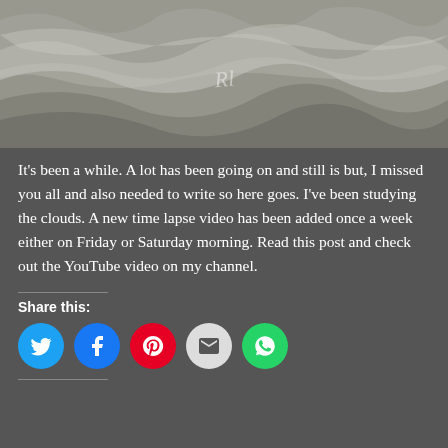[Figure (photo): Grayscale photograph of clouds or sand waves with a cursive watermark 'Rl' in the center]
It's been a while. A lot has been going on and still is but, I missed you all and also needed to write so here goes. I've been studying the clouds. A new time lapse video has been added once a week either on Friday or Saturday morning. Read this post and check out the YouTube video on my channel.
Share this:
[Figure (infographic): Social share buttons: Twitter (blue), Facebook (blue), Pinterest (red), Email (grey), WhatsApp (green)]